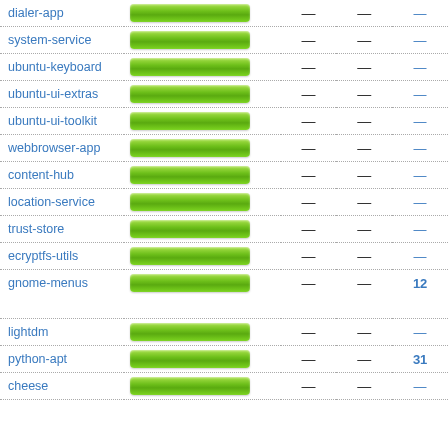| Package | Bar | Col1 | Col2 | Col3 |
| --- | --- | --- | --- | --- |
| dialer-app | [bar] | — | — | — |
| system-service | [bar] | — | — | — |
| ubuntu-keyboard | [bar] | — | — | — |
| ubuntu-ui-extras | [bar] | — | — | — |
| ubuntu-ui-toolkit | [bar] | — | — | — |
| webbrowser-app | [bar] | — | — | — |
| content-hub | [bar] | — | — | — |
| location-service | [bar] | — | — | — |
| trust-store | [bar] | — | — | — |
| ecryptfs-utils | [bar] | — | — | — |
| gnome-menus | [bar] | — | — | 12 |
| lightdm | [bar] | — | — | — |
| python-apt | [bar] | — | — | 31 |
| cheese | [bar] | — | — | — |